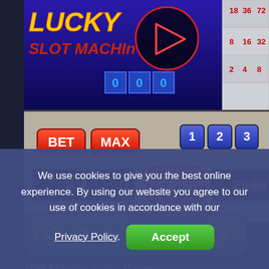[Figure (screenshot): Lucky Slot Machine game screenshot showing slot machine interface with BET, MAX buttons, SPIN button, credits display showing 2000, bet display showing 8, win display showing 0, and payline buttons 1, 2, 3. Top portion shows Lucky Slot Machine logo with play button overlay and a paytable on the right side.]
Play for Real Money
TOP 3 United States Casino
We use cookies to give you the best online experience. By using our website you agree to our use of cookies in accordance with our Privacy Policy.
Accept